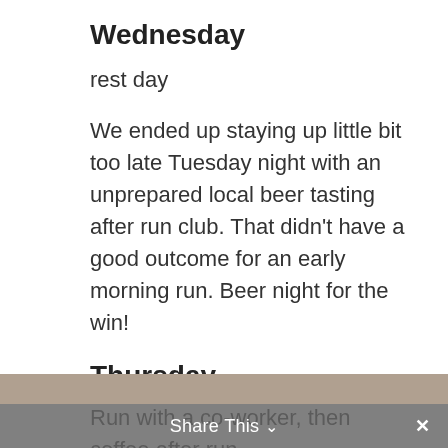Wednesday
rest day
We ended up staying up little bit too late Tuesday night with an unprepared local beer tasting after run club. That didn’t have a good outcome for an early morning run. Beer night for the win!
Thursday
Run with a co-worker, then coffee after run.
4.3 miles/38:36/9:11 avg pace
Share This ⌄  ✕